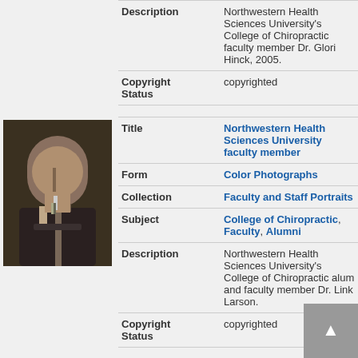| Field | Value |
| --- | --- |
| Description | Northwestern Health Sciences University's College of Chiropractic faculty member Dr. Glori Hinck, 2005. |
| Copyright Status | copyrighted |
[Figure (photo): Portrait photo of a man in a suit and tie, faculty member Dr. Link Larson]
| Field | Value |
| --- | --- |
| Title | Northwestern Health Sciences University faculty member |
| Form | Color Photographs |
| Collection | Faculty and Staff Portraits |
| Subject | College of Chiropractic, Faculty, Alumni |
| Description | Northwestern Health Sciences University's College of Chiropractic alum and faculty member Dr. Link Larson. |
| Copyright Status | copyrighted |
[Figure (photo): Portrait photo of a person, Northwestern Health Sciences University faculty member]
| Field | Value |
| --- | --- |
| Title | Northwestern Health Sciences University faculty member |
| Form | Color Photographs |